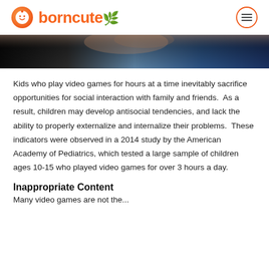borncute
[Figure (photo): Dark hero image with blue and black gradient background, partial close-up photo]
Kids who play video games for hours at a time inevitably sacrifice opportunities for social interaction with family and friends.  As a result, children may develop antisocial tendencies, and lack the ability to properly externalize and internalize their problems.  These indicators were observed in a 2014 study by the American Academy of Pediatrics, which tested a large sample of children ages 10-15 who played video games for over 3 hours a day.
Inappropriate Content
Many video games are not the...